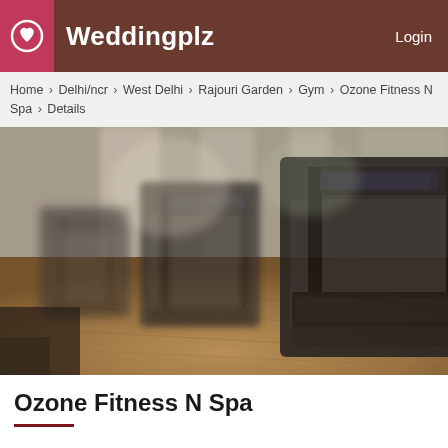Weddingplz   Login
Home › Delhi/ncr › West Delhi › Rajouri Garden › Gym › Ozone Fitness N Spa › Details
[Figure (photo): Interior of a gym showing multiple treadmills on a wooden floor with large windows in the background, blurred bokeh effect.]
Ozone Fitness N Spa